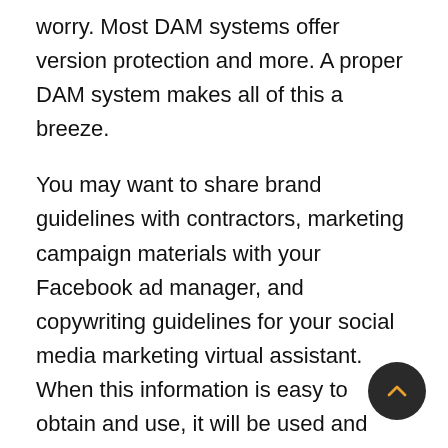worry. Most DAM systems offer version protection and more. A proper DAM system makes all of this a breeze.
You may want to share brand guidelines with contractors, marketing campaign materials with your Facebook ad manager, and copywriting guidelines for your social media marketing virtual assistant. When this information is easy to obtain and use, it will be used and adhered to.
Most likely, you just share a link and the user can take the link to use the document or even edit the document or file. It will be much easier with the right DAM system.
Preservation
The other key to a great DAM system is that you can better your files and even the other relevant media. Y...